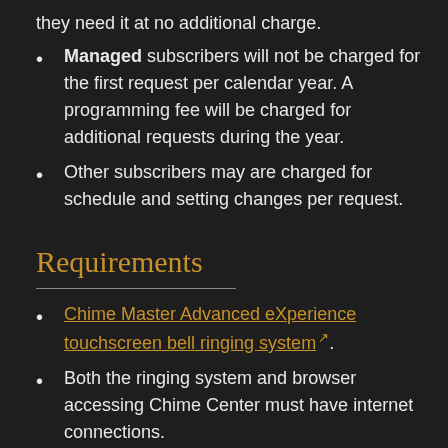they need it at no additional charge.
Managed subscribers will not be charged for the first request per calendar year. A programming fee will be charged for additional requests during the year.
Other subscribers may are charged for schedule and setting changes per request.
Requirements
Chime Master Advanced eXperience touchscreen bell ringing system [external link].
Both the ringing system and browser accessing Chime Center must have internet connections.
Up-to-date Internet browser (Chrome preferred) running on
Desktop or laptop PC or Linux